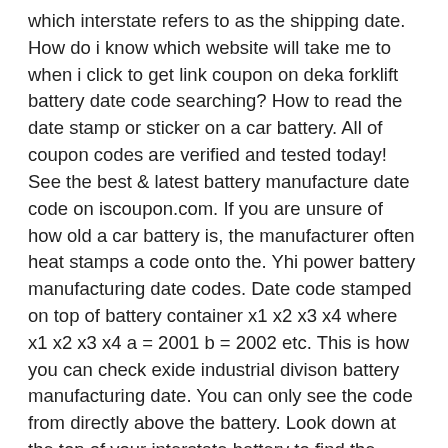which interstate refers to as the shipping date. How do i know which website will take me to when i click to get link coupon on deka forklift battery date code searching? How to read the date stamp or sticker on a car battery. All of coupon codes are verified and tested today! See the best & latest battery manufacture date code on iscoupon.com. If you are unsure of how old a car battery is, the manufacturer often heat stamps a code onto the. Yhi power battery manufacturing date codes. Date code stamped on top of battery container x1 x2 x3 x4 where x1 x2 x3 x4 a = 2001 b = 2002 etc. This is how you can check exide industrial divison battery manufacturing date. You can only see the code from directly above the battery. Look down at the top of your interstate battery to find the manufacture date code. Denotes month of manufacture a = january b = february etc. 09.09.2020 18:21 — алексей максимов. Finding the manufacture date on interstate batteries is a fairly straightforward task, as long as you know what the codes mean.